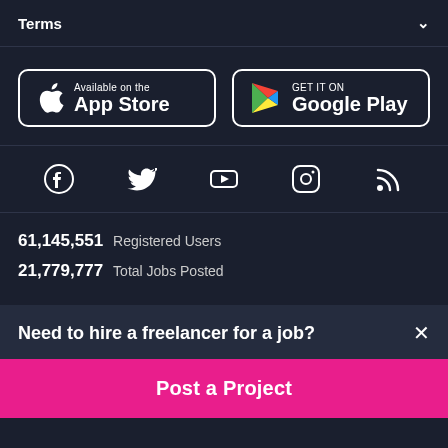Terms
[Figure (logo): App Store and Google Play download buttons]
[Figure (infographic): Social media icons: Facebook, Twitter, YouTube, Instagram, RSS]
61,145,551  Registered Users
21,779,777  Total Jobs Posted
Need to hire a freelancer for a job?
Post a Project